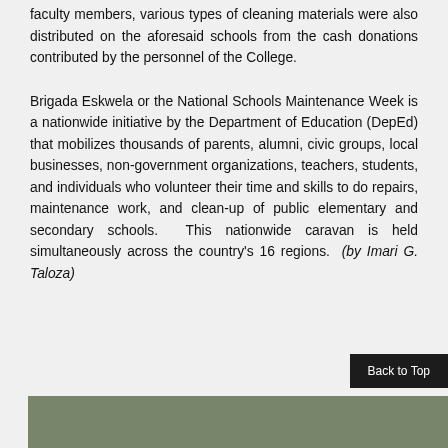faculty members, various types of cleaning materials were also distributed on the aforesaid schools from the cash donations contributed by the personnel of the College.
Brigada Eskwela or the National Schools Maintenance Week is a nationwide initiative by the Department of Education (DepEd) that mobilizes thousands of parents, alumni, civic groups, local businesses, non-government organizations, teachers, students, and individuals who volunteer their time and skills to do repairs, maintenance work, and clean-up of public elementary and secondary schools. This nationwide caravan is held simultaneously across the country's 16 regions. (by Imari G. Taloza)
[Figure (photo): Partial photo visible at bottom of page, appears to be an outdoor scene]